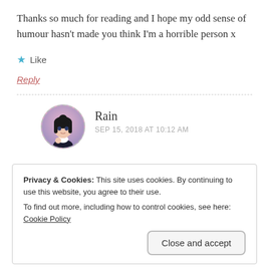Thanks so much for reading and I hope my odd sense of humour hasn’t made you think I’m a horrible person x
★ Like
Reply
[Figure (illustration): Circular avatar with dashed border showing an anime-style girl with black hair in a pink/purple background]
Rain
SEP 15, 2018 AT 10:12 AM
Privacy & Cookies: This site uses cookies. By continuing to use this website, you agree to their use.
To find out more, including how to control cookies, see here: Cookie Policy
Close and accept